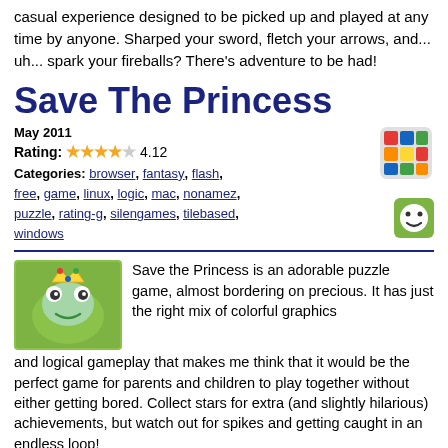casual experience designed to be picked up and played at any time by anyone. Sharped your sword, fletch your arrows, and... uh... spark your fireballs? There's adventure to be had!
Save The Princess
May 2011
Rating: 4.12
Categories: browser, fantasy, flash, free, game, linux, logic, mac, nonamez, puzzle, rating-g, silengames, tilebased, windows
[Figure (illustration): Rubik's cube colorful icon]
[Figure (illustration): Green smiley face icon]
[Figure (illustration): Frog wearing crown game icon]
Save the Princess is an adorable puzzle game, almost bordering on precious. It has just the right mix of colorful graphics and logical gameplay that makes me think that it would be the perfect game for parents and children to play together without either getting bored. Collect stars for extra (and slightly hilarious) achievements, but watch out for spikes and getting caught in an endless loop!
Flagstaff: Chapter Two